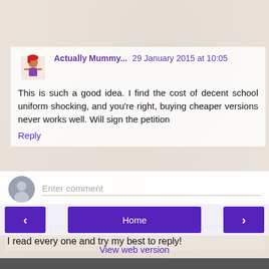Actually Mummy... 29 January 2015 at 10:05
This is such a good idea. I find the cost of decent school uniform shocking, and you're right, buying cheaper versions never works well. Will sign the petition
Reply
Enter comment
Thank you for taking the time to leave a comment.
I read every one and try my best to reply!
Home
View web version